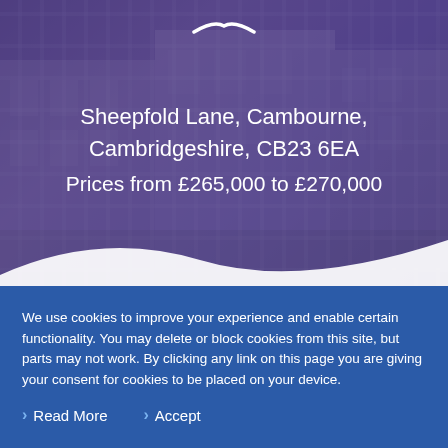[Figure (photo): Exterior photo of modern residential apartment buildings in Cambourne, with a purple/violet colour overlay. Buildings are multi-storey brick with large windows. White wave curve at bottom of image.]
Sheepfold Lane, Cambourne, Cambridgeshire, CB23 6EA
Prices from £265,000 to £270,000
We use cookies to improve your experience and enable certain functionality. You may delete or block cookies from this site, but parts may not work. By clicking any link on this page you are giving your consent for cookies to be placed on your device.
Read More
Accept